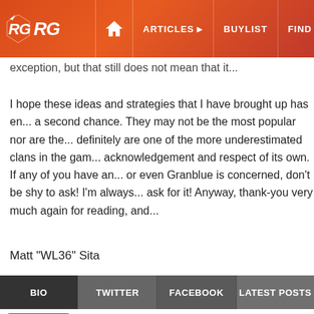ARG | ARTICLES | BUYLIST | FIND CARDS | EVENTS
exception, but that still does not mean that it...
I hope these ideas and strategies that I have brought up has en... a second chance. They may not be the most popular nor are the... definitely are one of the more underestimated clans in the gam... acknowledgement and respect of its own. If any of you have an... or even Granblue is concerned, don't be shy to ask! I'm always... ask for it! Anyway, thank-you very much again for reading, and...
Matt "WL36" Sita
BIO | TWITTER | FACEBOOK | LATEST POSTS
WARLYCAN36
How's it going? My name is Matt Sita, but people kno... alias, WarLycan36. I'm a former Yu-Gi-Oh player and... competitor. I also used to write deck reports on Pojo... familiar with me. If you have any questions, please f...